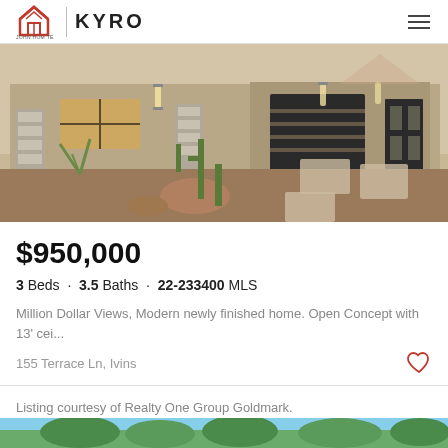KYRO | John Hom Team
[Figure (photo): Exterior photo of a modern desert home with stone pillars, cacti landscaping, large garage door, and wall sconce lighting at dusk.]
$950,000
3 Beds · 3.5 Baths · 22-233400 MLS
Million Dollar Views, Modern newly finished home. Open Concept with 13' cei...
155 Terrace Ln, Ivins
Listing courtesy of Realty One Group Goldmark.
[Figure (photo): Partial view of trees and blue sky, bottom peek of next listing card.]